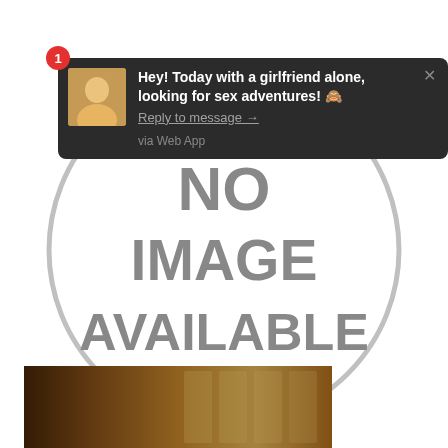[Figure (screenshot): A browser/app notification popup on a dark background showing a message: 'Hey! Today with a girlfriend alone, looking for sex adventures! 🙈 Reply to message → via Web App', with a badge number 1, a blonde woman avatar photo, and an X close button.]
[Figure (infographic): Large gray circle outline on white background with bold gray text 'NO IMAGE AVAILABLE' in the center.]
[Figure (photo): A partial photo at the bottom of the page showing a warm-toned indoor scene, possibly a sauna or room with wooden elements and light coming through windows.]